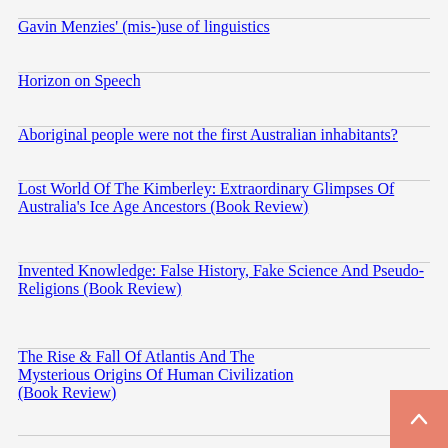Gavin Menzies’ (mis-)use of linguistics
Horizon on Speech
Aboriginal people were not the first Australian inhabitants?
Lost World Of The Kimberley: Extraordinary Glimpses Of Australia’s Ice Age Ancestors (Book Review)
Invented Knowledge: False History, Fake Science And Pseudo-Religions (Book Review)
The Rise & Fall Of Atlantis And The Mysterious Origins Of Human Civilization (Book Review)